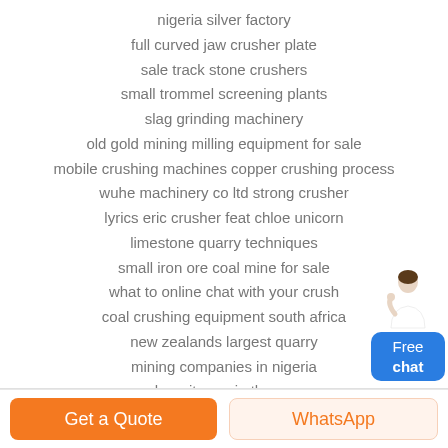nigeria silver factory
full curved jaw crusher plate
sale track stone crushers
small trommel screening plants
slag grinding machinery
old gold mining milling equipment for sale
mobile crushing machines copper crushing process
wuhe machinery co ltd strong crusher
lyrics eric crusher feat chloe unicorn
limestone quarry techniques
small iron ore coal mine for sale
what to online chat with your crush
coal crushing equipment south africa
new zealands largest quarry
mining companies in nigeria
chromite ore in the uae
slovenia of rolling mill machinery
[Figure (illustration): A customer service representative figure (woman in white) with a blue rounded chat button labeled 'Free chat']
Get a Quote
WhatsApp